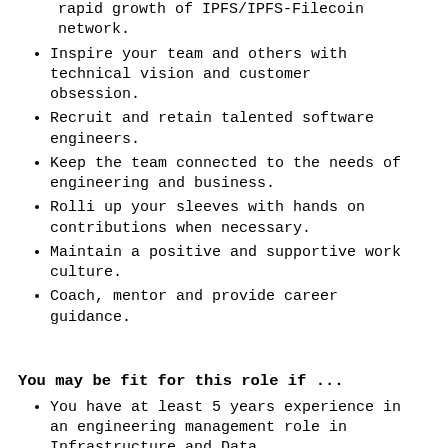rapid growth of IPFS/IPFS-Filecoin network.
Inspire your team and others with technical vision and customer obsession.
Recruit and retain talented software engineers.
Keep the team connected to the needs of engineering and business.
Rolli up your sleeves with hands on contributions when necessary.
Maintain a positive and supportive work culture.
Coach, mentor and provide career guidance.
You may be fit for this role if ...
You have at least 5 years experience in an engineering management role in Infrastructure and Data.
You have at least 10 years experience in an engineering role in Infrastructure and Data.